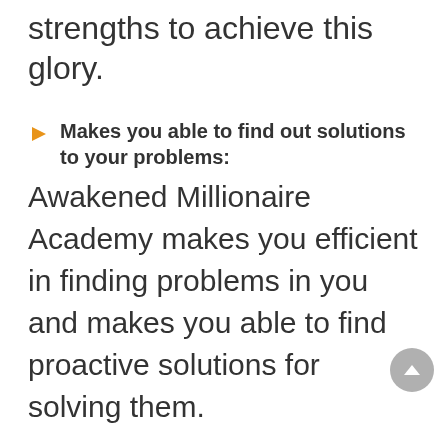strengths to achieve this glory.
Makes you able to find out solutions to your problems: Awakened Millionaire Academy makes you efficient in finding problems in you and makes you able to find proactive solutions for solving them.
Law of Attraction: The Academy teaches you the